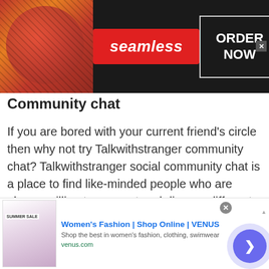[Figure (screenshot): Seamless food delivery ad banner with pizza image on left, red Seamless logo in center, ORDER NOW button on right, dark background]
Community chat
If you are bored with your current friend's circle then why not try Talkwithstranger community chat? Talkwithstranger social community chat is a place to find like-minded people who are always willing to connect and discuss different topics of interests. Whether you want to talk about current affairs, share your marriage secret or recent movies, people from different countries are ready to listen to you. If you think people will make fun of you then nothing
[Figure (screenshot): Women's Fashion VENUS online shop ad banner with summer sale image, blue title text, description and venus.com URL, arrow button on right]